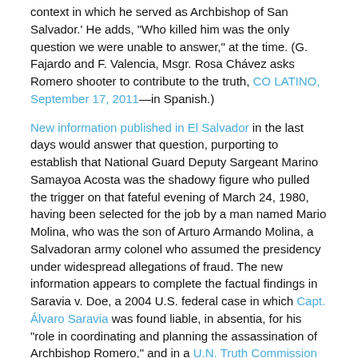context in which he served as Archbishop of San Salvador.' He adds, 'Who killed him was the only question we were unable to answer,' at the time. (G. Fajardo and F. Valencia, Msgr. Rosa Chávez asks Romero shooter to contribute to the truth, CO LATINO, September 17, 2011—in Spanish.)
New information published in El Salvador in the last days would answer that question, purporting to establish that National Guard Deputy Sargeant Marino Samayoa Acosta was the shadowy figure who pulled the trigger on that fateful evening of March 24, 1980, having been selected for the job by a man named Mario Molina, who was the son of Arturo Armando Molina, a Salvadoran army colonel who assumed the presidency under widespread allegations of fraud. The new information appears to complete the factual findings in Saravia v. Doe, a 2004 U.S. federal case in which Capt. Álvaro Saravia was found liable, in absentia, for his 'role in coordinating and planning the assassination of Archbishop Romero,' and in a U.N. Truth Commission Report which found that, 'Former Major Roberto D'Aubuisson gave the order to assassinate the Archbishop and gave precise instructions to members of his security service (including Saravia), acting as a 'death squad', to organize and supervise the assassination.'
The Diario CoLatino article, drawing on several sources, provides a narrative of D'Aubuisson's conspiracy to kill archbishop Romero from the order given by D'Aubuisson to...